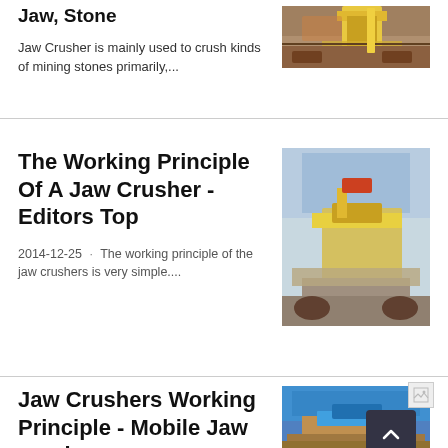Jaw, Stone
[Figure (photo): Yellow mining jaw crusher machinery at a stone quarry site]
Jaw Crusher is mainly used to crush kinds of mining stones primarily,...
The Working Principle Of A Jaw Crusher - Editors Top
[Figure (photo): Yellow mobile jaw crusher surrounded by crushed stone/gravel piles]
2014-12-25 · The working principle of the jaw crushers is very simple....
[Figure (photo): Broken image icon placeholder]
Jaw Crushers Working Principle - Mobile Jaw crusher
[Figure (photo): Blue mobile jaw crusher machinery at a quarry site with scroll-to-top button overlay]